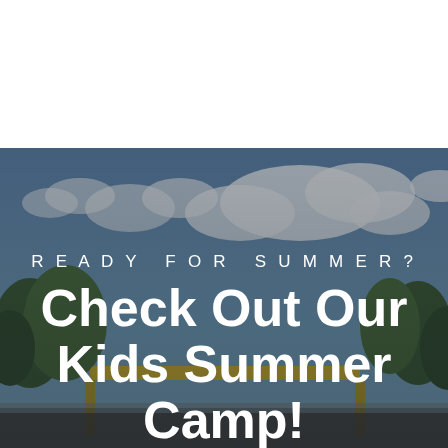[Figure (photo): Outdoor summer camp scene with blue sky, clouds, green trees, and yellow playground structure. Image occupies lower portion of page.]
READY FOR SUMMER?
Check Out Our Kids Summer Camp!